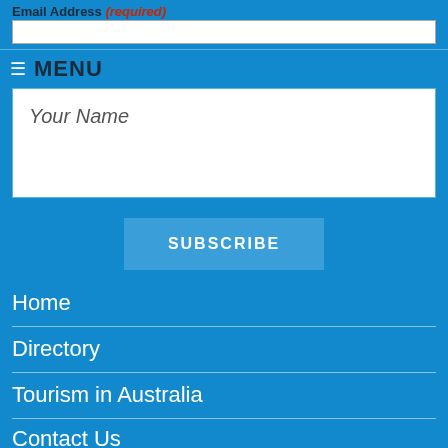Email Address (required)
≡ MENU
Your Name
SUBSCRIBE
Home
Directory
Tourism in Australia
Contact Us